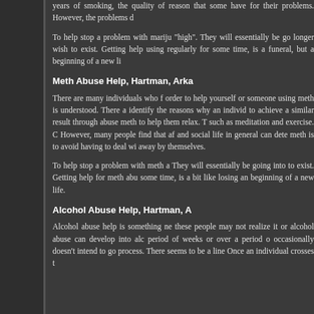years of smoking, the quality of re... reason that some have for their... problems. However, the problems d...
To help stop a problem with mariju... "high". They will essentially be go... longer wish to exist. Getting help... using regularly for some time, is a... funeral, but a beginning of a new li...
Meth Abuse Help, Hartman, Arka...
There are many individuals who f... order to help yourself or someone... using meth is understood. There a... identify the reasons why an individ... to achieve a similar result through... abuse meth to help them relax. T... such as meditation and exercise. C... However, many people find that af... and social life in general can dete... meth is to avoid having to deal wi... away by themselves.
To help stop a problem with meth a... They will essentially be going into... to exist. Getting help for meth abu... some time, is a bit like losing an... beginning of a new life.
Alcohol Abuse Help, Hartman, A...
Alcohol abuse help is something ne... these people may not realize it or... alcohol abuse can develop into alc... period of weeks or over a period o... occasionally doesn't intend to go... process. There seems to be a line... Once an individual crosses t...